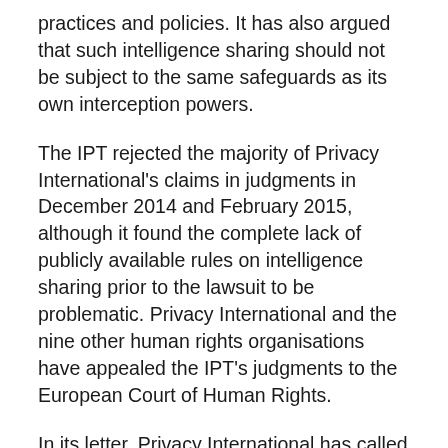practices and policies. It has also argued that such intelligence sharing should not be subject to the same safeguards as its own interception powers.
The IPT rejected the majority of Privacy International's claims in judgments in December 2014 and February 2015, although it found the complete lack of publicly available rules on intelligence sharing prior to the lawsuit to be problematic. Privacy International and the nine other human rights organisations have appealed the IPT's judgments to the European Court of Human Rights.
In its letter, Privacy International has called for the UK government to release key documents outlining the UK's intelligence sharing arrangements. The government has already presented many of those documents to the IPT in a closed hearing, but has so far refused to make them publicly available.
Privacy International has also forwarded reports